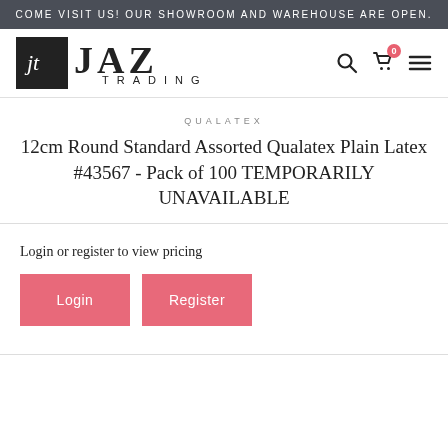COME VISIT US! OUR SHOWROOM AND WAREHOUSE ARE OPEN.
[Figure (logo): JAZ Trading logo with black square containing stylized 'jt' initials and large JAZ TRADING text]
QUALATEX
12cm Round Standard Assorted Qualatex Plain Latex #43567 - Pack of 100 TEMPORARILY UNAVAILABLE
Login or register to view pricing
Login
Register